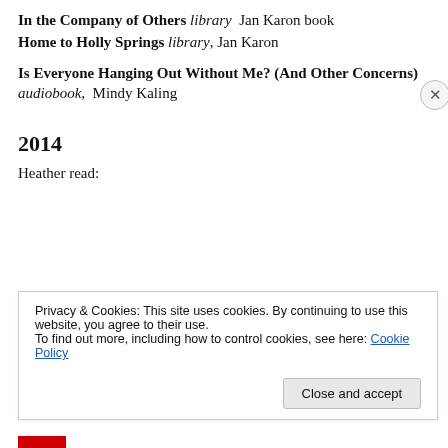In the Company of Others library  Jan Karon book
Home to Holly Springs library, Jan Karon
Is Everyone Hanging Out Without Me? (And Other Concerns) audiobook,  Mindy Kaling
2014
Heather read:
Privacy & Cookies: This site uses cookies. By continuing to use this website, you agree to their use.
To find out more, including how to control cookies, see here: Cookie Policy
Close and accept